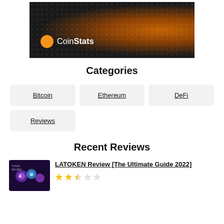[Figure (photo): CoinStats banner image with dark background, orange light gradient, and dot pattern. CoinStats logo (orange icon and white text) visible at bottom left.]
Categories
Bitcoin
Ethereum
DeFi
Reviews
Recent Reviews
[Figure (photo): LATOKEN Review thumbnail image with dark purple/blue background and colorful token icons.]
LATOKEN Review [The Ultimate Guide 2022]
★★☆☆☆ (2 out of 5 stars rating)